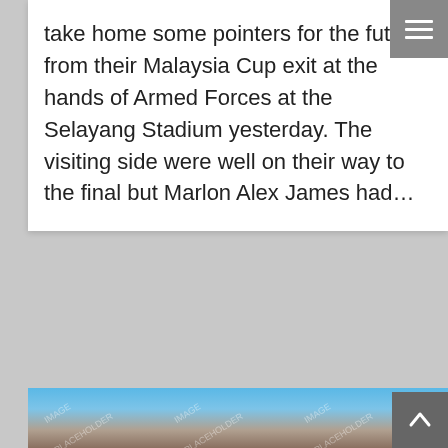take home some pointers for the future from their Malaysia Cup exit at the hands of Armed Forces at the Selayang Stadium yesterday. The visiting side were well on their way to the final but Marlon Alex James had…
[Figure (photo): Image placeholder with watermark text repeating 'IMAGE PLACEHOLDER' diagonally across a blurred outdoor photo with blue sky gradient transitioning to brown/earth tones at the bottom.]